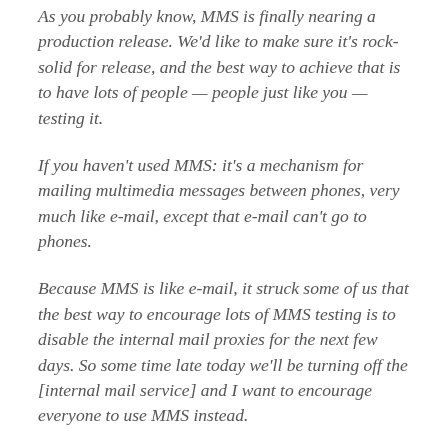As you probably know, MMS is finally nearing a production release. We'd like to make sure it's rock-solid for release, and the best way to achieve that is to have lots of people — people just like you — testing it.
If you haven't used MMS: it's a mechanism for mailing multimedia messages between phones, very much like e-mail, except that e-mail can't go to phones.
Because MMS is like e-mail, it struck some of us that the best way to encourage lots of MMS testing is to disable the internal mail proxies for the next few days. So some time late today we'll be turning off the [internal mail service] and I want to encourage everyone to use MMS instead.
If you find bugs, please file them in [our bug-